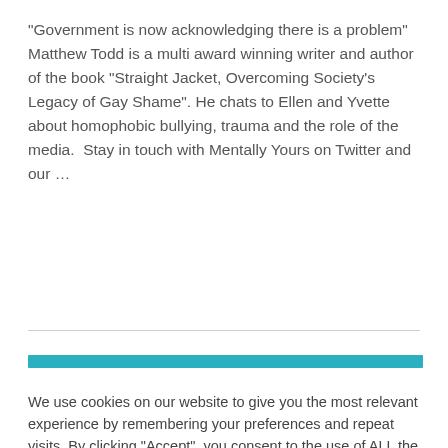“Government is now acknowledging there is a problem” Matthew Todd is a multi award winning writer and author of the book “Straight Jacket, Overcoming Society’s Legacy of Gay Shame”. He chats to Ellen and Yvette about homophobic bullying, trauma and the role of the media.  Stay in touch with Mentally Yours on Twitter and our …
Read More »
We use cookies on our website to give you the most relevant experience by remembering your preferences and repeat visits. By clicking “Accept”, you consent to the use of ALL the cookies.
Cookie settings
ACCEPT